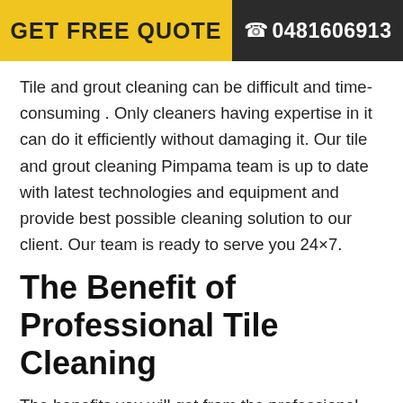GET FREE QUOTE   ☎ 0481606913
Tile and grout cleaning can be difficult and time-consuming . Only cleaners having expertise in it can do it efficiently without damaging it. Our tile and grout cleaning Pimpama team is up to date with latest technologies and equipment and provide best possible cleaning solution to our client. Our team is ready to serve you 24×7.
The Benefit of Professional Tile Cleaning
The benefits you will get from the professional tile cleaning are:
1. Grout is home for mould. Professional tile cleaning helps to get rid of it.